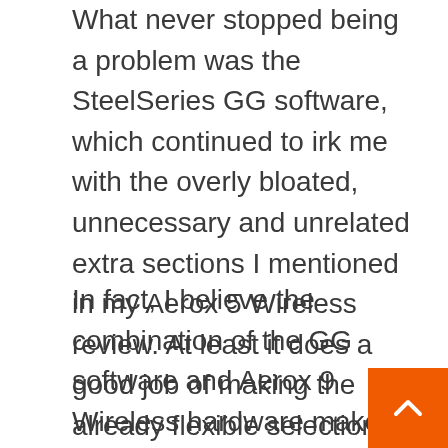What never stopped being a problem was the SteelSeries GG software, which continued to irk me with the overly bloated, unnecessary and unrelated extra sections I mentioned in my Aerox 5 Wireless review. At least it does a good job of making the already flexible selection of side buttons even more adaptable. Once you actually drill down to the menu where you can remap them, that is.
In fact, I believe the combination of the GG software and Aerox 9 Wireless hardware makes an excellent case for using it as a productivity mouse. It has ergonomics and comfort close to a Logitech MX Master series entrant, a selection of buttons that outnumbers some smaller Elgato Stream Decks or Loupedeck control surfaces, and a sensor precise enough to let you manipulate individual pixels in Photoshop or finicky timelines in Premier